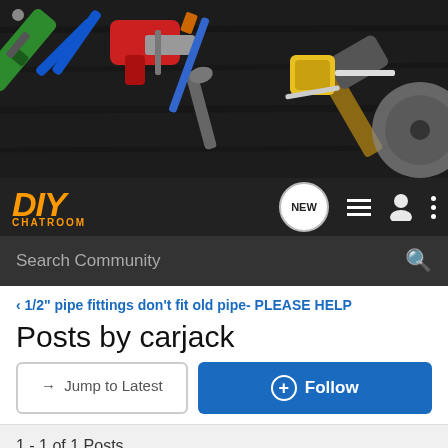[Figure (photo): Header banner showing various tools including drill, hammer, saw, wrenches and measuring tape on a dark wooden background]
DIY CHATROOM
Search Community
< 1/2" pipe fittings don't fit old pipe- PLEASE HELP
Posts by carjack
→ Jump to Latest
+ Follow
1 - 1 of 1 Posts
carjack · Registered
Joined May 21, 2009 · 1 Posts